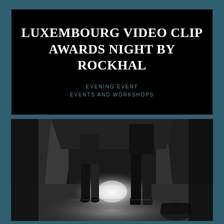LUXEMBOURG VIDEO CLIP AWARDS NIGHT BY ROCKHAL
EVENING EVENT
EVENTS AND WORKSHOPS
[Figure (photo): Black and white photograph of a dimly lit narrow alley or corridor. People's legs and silhouettes are visible on both sides, with a bright light source glowing in the background center. The atmosphere is dark and moody.]